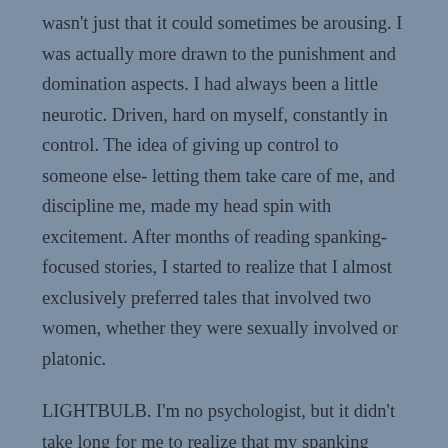wasn't just that it could sometimes be arousing. I was actually more drawn to the punishment and domination aspects. I had always been a little neurotic. Driven, hard on myself, constantly in control. The idea of giving up control to someone else- letting them take care of me, and discipline me, made my head spin with excitement. After months of reading spanking-focused stories, I started to realize that I almost exclusively preferred tales that involved two women, whether they were sexually involved or platonic.
LIGHTBULB. I'm no psychologist, but it didn't take long for me to realize that my spanking fetish didn't come out of no where. I had always been drawn to strong female figures in my life (coaches, mentors, etc.).